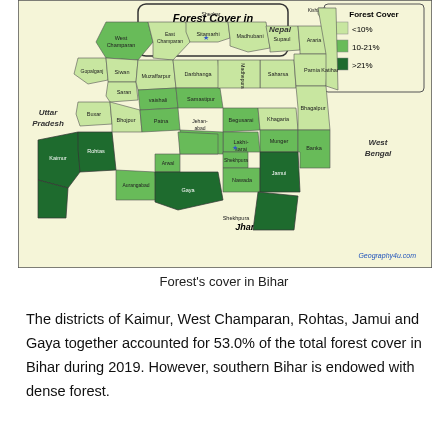[Figure (map): Map showing Forest Cover in Bihar. Districts are color-coded: light green for <10% forest cover, medium green for 10-21%, and dark green for >21%. Districts labeled include West Champaran, East Champaran, Sheohar, Sitamarhi, Madhubani, Supaul, Araria, Kishanganj, Gopalganj, Siwan, Muzaffarpur, Darbhanga, Samastipur, Saharsa, Madhepura, Parnia, Saran, Vaishali, Begusarai, Khagaria, Katihar, Bhagalpur, Buxar, Bhojpur, Patna, Munger, Nalanda, Lakhisarai, Jehanabad, Nawada, Jamui, Banka, Aurangabad, Gaya, Shekhpura, Arwal, Rohtas, Kaimur. Neighboring regions: Nepal (north), Uttar Pradesh (west), Jharkhand (south), West Bengal (east). Attribution: Geography4u.com]
Forest's cover in Bihar
The districts of Kaimur, West Champaran, Rohtas, Jamui and Gaya together accounted for 53.0% of the total forest cover in Bihar during 2019. However, southern Bihar is endowed with dense forest.